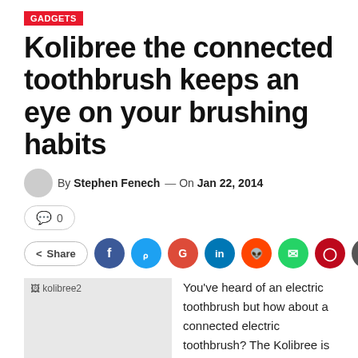GADGETS
Kolibree the connected toothbrush keeps an eye on your brushing habits
By Stephen Fenech — On Jan 22, 2014
0
Share
[Figure (photo): kolibree2 image placeholder]
You've heard of an electric toothbrush but how about a connected electric toothbrush? The Kolibree is just that and can keep track of your brushing habits.